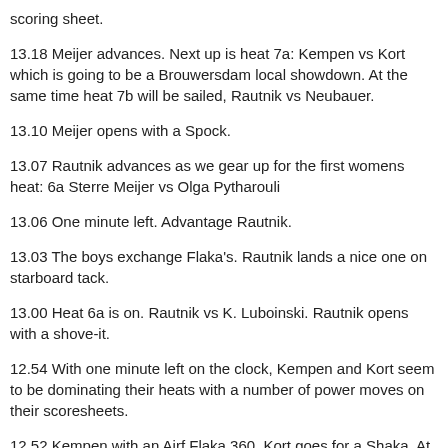scoring sheet.
13.18 Meijer advances. Next up is heat 7a: Kempen vs Kort which is going to be a Brouwersdam local showdown. At the same time heat 7b will be sailed, Rautnik vs Neubauer.
13.10 Meijer opens with a Spock.
13.07 Rautnik advances as we gear up for the first womens heat: 6a Sterre Meijer vs Olga Pytharouli
13.06 One minute left. Advantage Rautnik.
13.03 The boys exchange Flaka's. Rautnik lands a nice one on starboard tack.
13.00 Heat 6a is on. Rautnik vs K. Luboinski. Rautnik opens with a shove-it.
12.54 With one minute left on the clock, Kempen and Kort seem to be dominating their heats with a number of power moves on their scoresheets.
12.52 Kempen with an Airf Flaka 360. Kort goes for a Shaka. At the